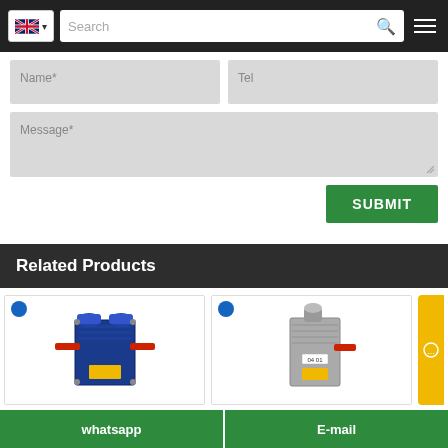Navigation bar with UK flag, language selector, search field, and hamburger menu
Name*
Tel
Message*
SUBMIT
Related Products
[Figure (photo): Blue plate heat exchanger product with red pipes]
[Figure (photo): Grey/silver plate heat exchanger product with pipe connections and label]
whatsapp    E-mail